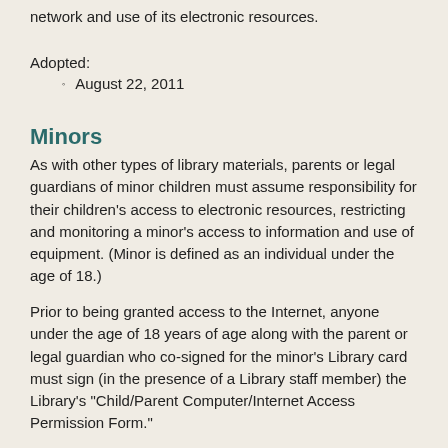network and use of its electronic resources.
Adopted:
August 22, 2011
Minors
As with other types of library materials, parents or legal guardians of minor children must assume responsibility for their children's access to electronic resources, restricting and monitoring a minor's access to information and use of equipment. (Minor is defined as an individual under the age of 18.)
Prior to being granted access to the Internet, anyone under the age of 18 years of age along with the parent or legal guardian who co-signed for the minor's Library card must sign (in the presence of a Library staff member) the Library's "Child/Parent Computer/Internet Access Permission Form."
This policy recognizes that the Internet is an unregulated medium and minors are particularly vulnerable in the area of Internet usage and are less able to make critical decisions in